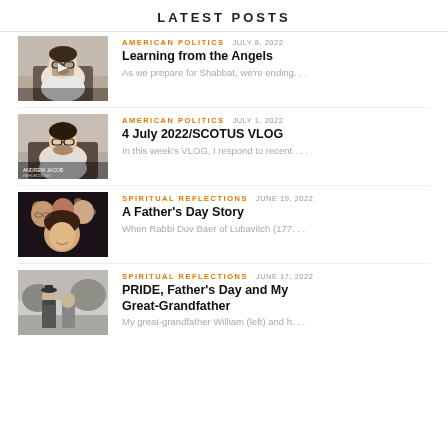LATEST POSTS
[Figure (photo): Man with glasses sitting in a chair, video thumbnail with play button]
AMERICAN POLITICS   JULY 8, 2022
Learning from the Angels
As we prepare for Shabbat, we're ending. . .
[Figure (photo): Man with glasses, Andrew Jacob, video thumbnail]
AMERICAN POLITICS   JULY 1, 2022
4 July 2022/SCOTUS VLOG
In this week's VLOG, I respond to recent . . .
[Figure (photo): Group selfie photo at night]
SPIRITUAL REFLECTIONS   JUNE 19, 2022
A Father's Day Story
When Rabbi Dov Baer of Lubavitch (177. . .
[Figure (photo): Black and white photo of two people standing outdoors]
SPIRITUAL REFLECTIONS   JUNE 17, 2022
PRIDE, Father's Day and My Great-Grandfather
My great-grandfather William (left) and h. . .